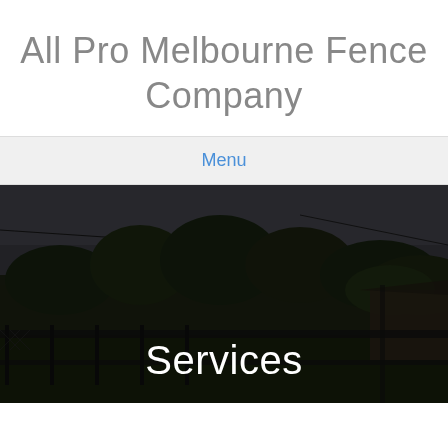All Pro Melbourne Fence Company
Menu
[Figure (photo): Outdoor scene showing a dark chain-link fence in the foreground, with trees and a house visible in the background under a cloudy grey sky. The image is dark and moody with overcast lighting.]
Services